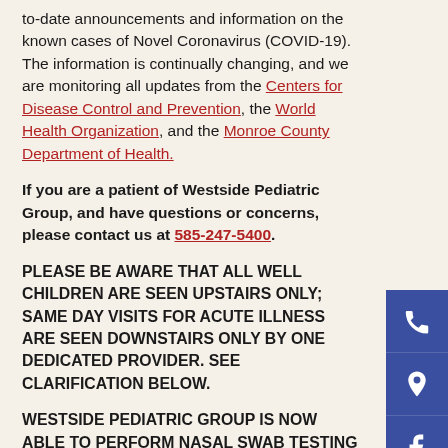to-date announcements and information on the known cases of Novel Coronavirus (COVID-19). The information is continually changing, and we are monitoring all updates from the Centers for Disease Control and Prevention, the World Health Organization, and the Monroe County Department of Health.
If you are a patient of Westside Pediatric Group, and have questions or concerns, please contact us at 585-247-5400.
PLEASE BE AWARE THAT ALL WELL CHILDREN ARE SEEN UPSTAIRS ONLY; SAME DAY VISITS FOR ACUTE ILLNESS ARE SEEN DOWNSTAIRS ONLY BY ONE DEDICATED PROVIDER. SEE CLARIFICATION BELOW.
WESTSIDE PEDIATRIC GROUP IS NOW ABLE TO PERFORM NASAL SWAB TESTING FOR CORONAVIRUS IN THE OFFICE. WE SEND THE
[Figure (infographic): Blue sidebar with phone, location pin, and Facebook icons]